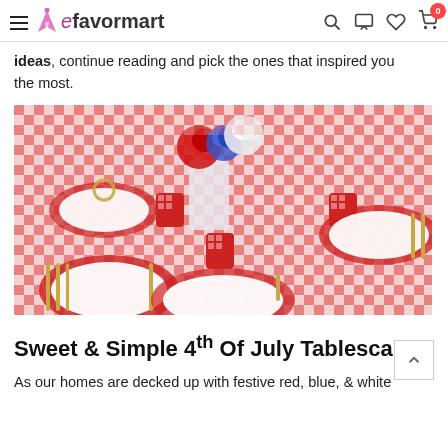eFavorMart navigation header with hamburger menu, logo, search, chat, wishlist, and cart (0 items)
ideas, continue reading and pick the ones that inspired you the most.
[Figure (photo): Overhead view of a 4th of July themed table setting with a red and white gingham tablecloth, white plates on red chargers, gold cutlery, red checkered cups, and a centerpiece with red, blue, and white flowers in a glass vase.]
Sweet & Simple 4th Of July Tablescape
As our homes are decked up with festive red, blue, & white